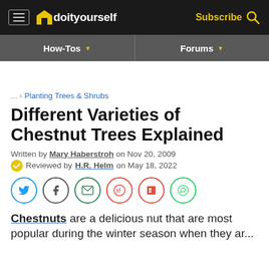doityourself | Subscribe
How-Tos | Forums
... > Planting Trees & Shrubs
Different Varieties of Chestnut Trees Explained
Written by Mary Haberstroh on Nov 20, 2009
Reviewed by H.R. Helm on May 18, 2022
[Figure (other): Social sharing buttons: Twitter, Facebook, Email, Reddit, Flipboard, WhatsApp]
Chestnuts are a delicious nut that are most popular during the winter season when they ar...